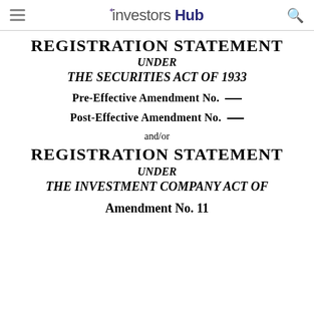investorshub
REGISTRATION STATEMENT
UNDER
THE SECURITIES ACT OF 1933
Pre-Effective Amendment No. __
Post-Effective Amendment No. __
and/or
REGISTRATION STATEMENT
UNDER
THE INVESTMENT COMPANY ACT OF
Amendment No. 11